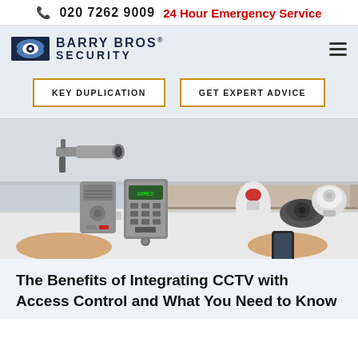📞 020 7262 9009   24 Hour Emergency Service
[Figure (logo): Barry Bros Security logo with eye icon and company name in bold navy text]
KEY DUPLICATION
GET EXPERT ADVICE
[Figure (photo): Security equipment including CCTV camera, alarm keypad, motion sensors, and dome camera arranged on a white table with a living room background]
The Benefits of Integrating CCTV with Access Control and What You Need to Know